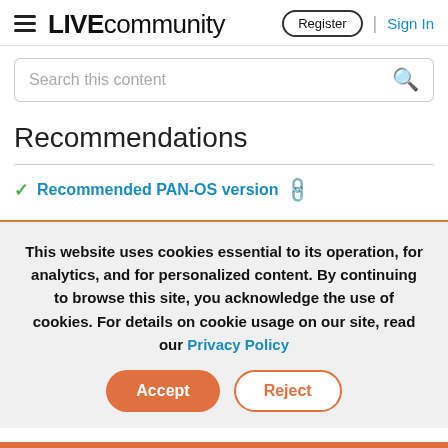LIVE community — Register | Sign In
Search this content
Recommendations
✓ Recommended PAN-OS version 🔗
This website uses cookies essential to its operation, for analytics, and for personalized content. By continuing to browse this site, you acknowledge the use of cookies. For details on cookie usage on our site, read our Privacy Policy
Accept | Reject